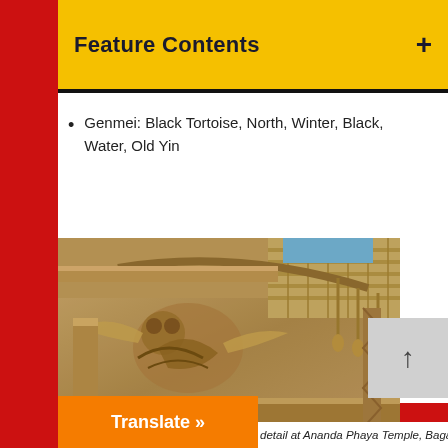Feature Contents
Genmei: Black Tortoise, North, Winter, Black, Water, Old Yin
[Figure (photo): Architectural carving detail at Ananda Phaya Temple, Bagan, showing intricate stone relief with mythological creature and ornate decorative elements]
detail at Ananda Phaya Temple, Bagan,